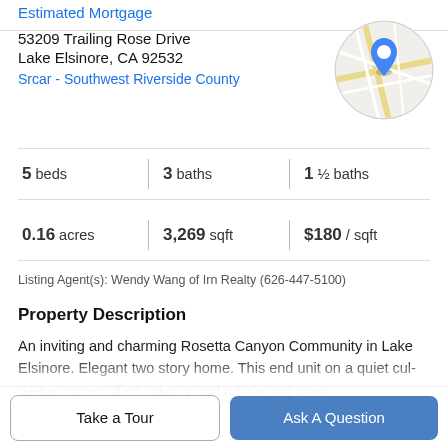Estimated Mortgage
53209 Trailing Rose Drive
Lake Elsinore, CA 92532
Srcar - Southwest Riverside County
[Figure (map): Circular map thumbnail with a blue location pin marker, showing street map of area]
| 5 beds | 3 baths | 1 ½ baths |
| 0.16 acres | 3,269 sqft | $180 / sqft |
Listing Agent(s): Wendy Wang of Irn Realty (626-447-5100)
Property Description
An inviting and charming Rosetta Canyon Community in Lake Elsinore. Elegant two story home. This end unit on a quiet cul-de-sac street offers privacy and a safe and quiet
Take a Tour
Ask A Question